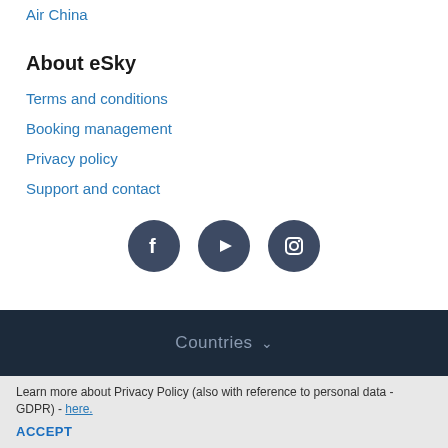Air China
About eSky
Terms and conditions
Booking management
Privacy policy
Support and contact
[Figure (other): Three social media icons in dark circular buttons: Facebook (f), YouTube (play triangle), Instagram (camera)]
Countries
Learn more about Privacy Policy (also with reference to personal data - GDPR) - here.
Accept